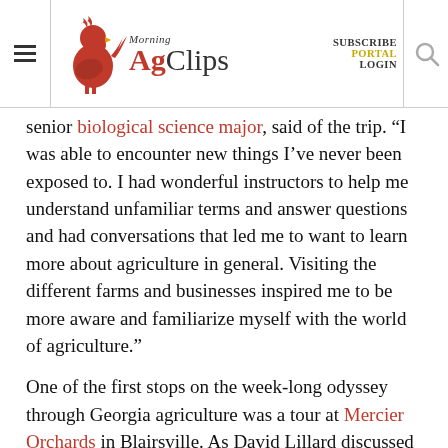Morning AgClips — SUBSCRIBE PORTAL LOGIN
senior biological science major, said of the trip. “I was able to encounter new things I’ve never been exposed to. I had wonderful instructors to help me understand unfamiliar terms and answer questions and had conversations that led me to want to learn more about agriculture in general. Visiting the different farms and businesses inspired me to be more aware and familiarize myself with the world of agriculture.”
One of the first stops on the week-long odyssey through Georgia agriculture was a tour at Mercier Orchards in Blairsville. As David Lillard discussed the intricacies of helping operate a family-run business, students learned the value of diversification and innovation in agriculture through the story of how the business has expanded from a simple apple orchard to a thriving agritourism destination. Among the most popular the fresh-picked ...